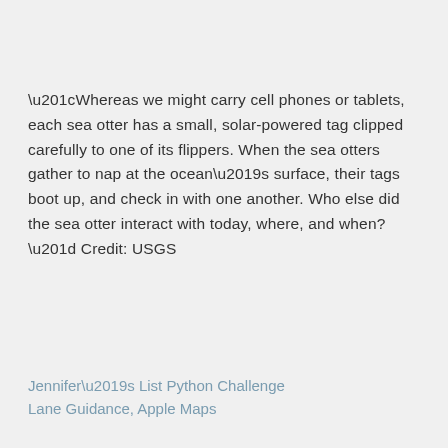“Whereas we might carry cell phones or tablets, each sea otter has a small, solar-powered tag clipped carefully to one of its flippers. When the sea otters gather to nap at the ocean’s surface, their tags boot up, and check in with one another. Who else did the sea otter interact with today, where, and when?” Credit: USGS
Jennifer’s List Python Challenge
Lane Guidance, Apple Maps